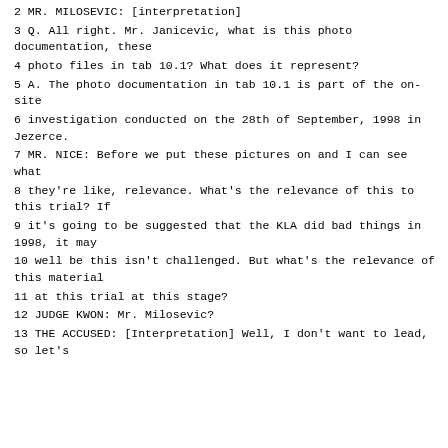2 MR. MILOSEVIC: [interpretation]
3 Q. All right. Mr. Janicevic, what is this photo documentation, these
4 photo files in tab 10.1? What does it represent?
5 A. The photo documentation in tab 10.1 is part of the on-site
6 investigation conducted on the 28th of September, 1998 in Jezerce.
7 MR. NICE: Before we put these pictures on and I can see what
8 they're like, relevance. What's the relevance of this to this trial? If
9 it's going to be suggested that the KLA did bad things in 1998, it may
10 well be this isn't challenged. But what's the relevance of this material
11 at this trial at this stage?
12 JUDGE KWON: Mr. Milosevic?
13 THE ACCUSED: [Interpretation] Well, I don't want to lead, so let's